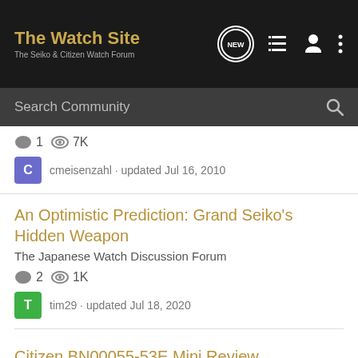The Watch Site
The Seiko & Citizen Watch Forum
Search Community
1 replies · 7K views · cmeisenzahl · updated Jul 16, 2010
An Optimistic Prediction: Grand Seiko's Hidden Weapon
The Japanese Watch Discussion Forum
2 replies · 1K views · tim29 · updated Jul 18, 2020
Citizen BN00055-53E Mini Review.
Citizen Reviews